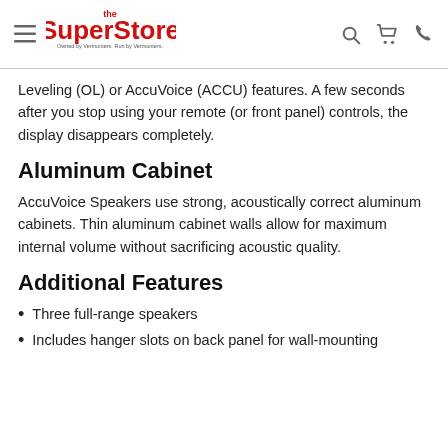The SuperStore — Owned by Vermonters. Run by Vermonters.
Leveling (OL) or AccuVoice (ACCU) features. A few seconds after you stop using your remote (or front panel) controls, the display disappears completely.
Aluminum Cabinet
AccuVoice Speakers use strong, acoustically correct aluminum cabinets. Thin aluminum cabinet walls allow for maximum internal volume without sacrificing acoustic quality.
Additional Features
Three full-range speakers
Includes hanger slots on back panel for wall-mounting